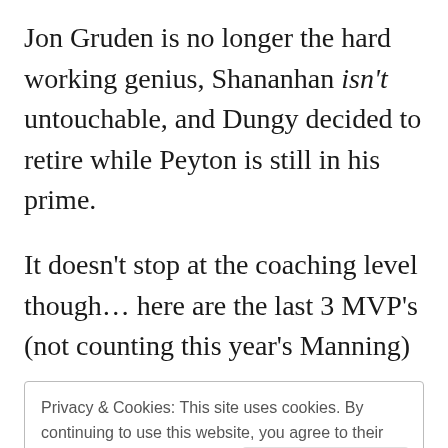Jon Gruden is no longer the hard working genius, Shananhan isn't untouchable, and Dungy decided to retire while Peyton is still in his prime.
It doesn't stop at the coaching level though… here are the last 3 MVP's (not counting this year's Manning)
Privacy & Cookies: This site uses cookies. By continuing to use this website, you agree to their use. To find out more, including how to c see here: Cookie Policy  Close and accept
while trying out for any team that would